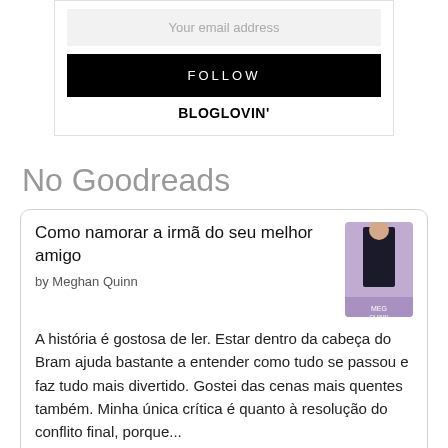Your email address
FOLLOW
BLOGLOVIN'
No Goodreads
Como namorar a irmã do seu melhor amigo
by Meghan Quinn
A história é gostosa de ler. Estar dentro da cabeça do Bram ajuda bastante a entender como tudo se passou e faz tudo mais divertido. Gostei das cenas mais quentes também. Minha única crítica é quanto à resolução do conflito final, porque...
tagged: best friends little sister